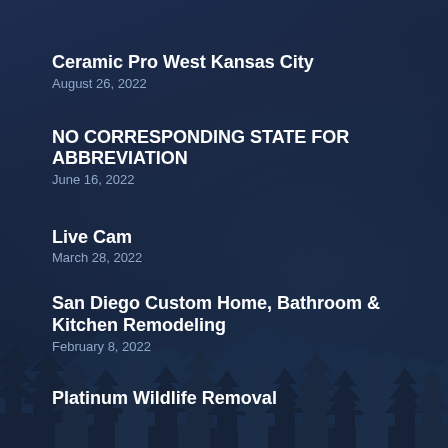Ceramic Pro West Kansas City
August 26, 2022
NO CORRESPONDING STATE FOR ABBREVIATION
June 16, 2022
Live Cam
March 28, 2022
San Diego Custom Home, Bathroom & Kitchen Remodeling
February 8, 2022
Platinum Wildlife Removal